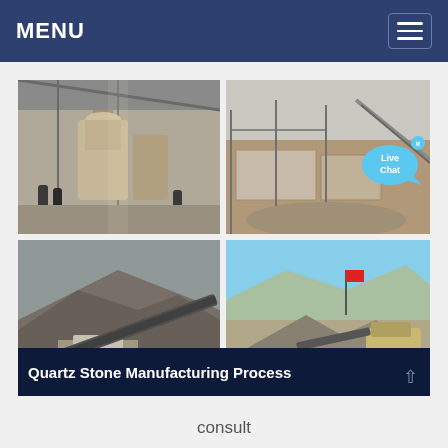MENU
[Figure (photo): Four-photo collage of quartz stone manufacturing: top-left shows industrial milling equipment inside a warehouse with workers; top-right shows an outdoor quarry or processing site with stone blocks and aggregate; bottom-left shows a conveyor belt system at a quarry or mine site with rocky hillside; bottom-right shows outdoor crushing/screening equipment with aggregate piles and a red flag under blue sky.]
Quartz Stone Manufacturing Process
consult